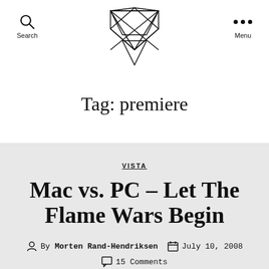Search  [Logo]  Menu
Tag: premiere
VISTA
Mac vs. PC – Let The Flame Wars Begin
By Morten Rand-Hendriksen  July 10, 2008  15 Comments